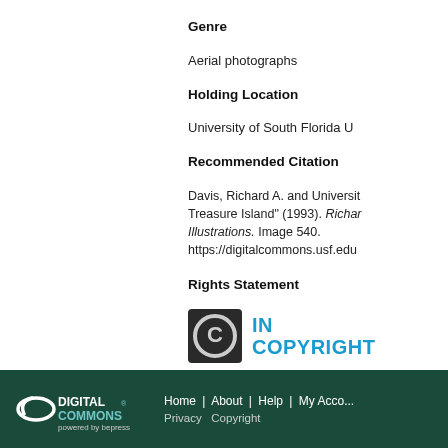Genre
Aerial photographs
Holding Location
University of South Florida U
Recommended Citation
Davis, Richard A. and Universit... Treasure Island" (1993). Richar... Illustrations. Image 540. https://digitalcommons.usf.edu...
Rights Statement
[Figure (logo): IN COPYRIGHT logo with stylized C symbol in dark circle and teal text]
DIGITAL COMMONS powered by bepress | Home | About | Help | My Acco... | Privacy | Copyright